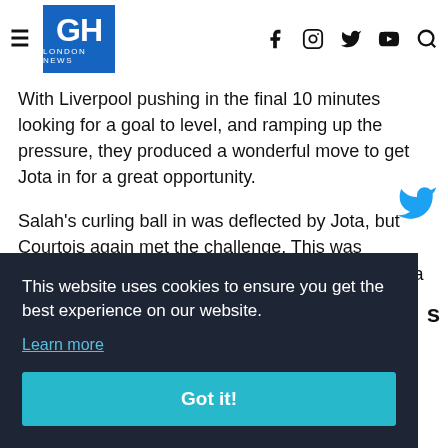GH LONDON NEWS
With Liverpool pushing in the final 10 minutes looking for a goal to level, and ramping up the pressure, they produced a wonderful move to get Jota in for a great opportunity.
Salah's curling ball in was deflected by Jota, but Courtois again met the challenge. This was statistically Courtois' best save of the match, with a 0.34 pre-shot xG and a massive 0.89 post-shot xGOT.
This website uses cookies to ensure you get the best experience on our website.
Learn more
Got it!
[2-1